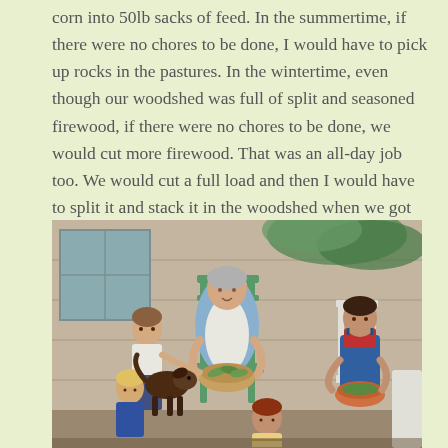corn into 50lb sacks of feed.  In the summertime, if there were no chores to be done, I would have to pick up rocks in the pastures.  In the wintertime, even though our woodshed was full of split and seasoned firewood, if there were no chores to be done, we would cut more firewood.  That was an all-day job too.  We would cut a full load and then I would have to split it and stack it in the woodshed when we got home.
[Figure (illustration): A painted illustration showing an elderly woman in a rocking chair snapping green beans into a large bowl, surrounded by children and a younger woman in overalls, all seated on a porch. A dog is also present.]